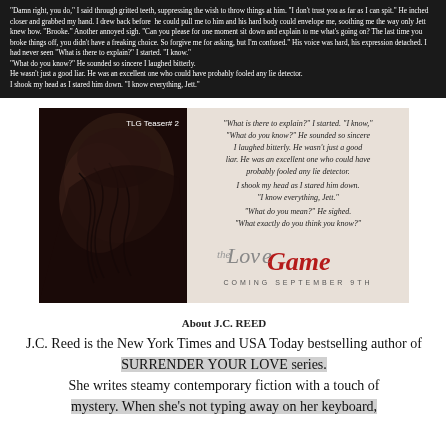"Damn right, you do," I said through gritted teeth, suppressing the wish to throw things at him. "I don't trust you as far as I can spit." He inched closer and grabbed my hand. I drew back before he could pull me to him and his hard body could envelope me, soothing me the way only Jett knew how. "Brooke." Another annoyed sigh. "Can you please for one moment sit down and explain to me what's going on? The last time you broke things off, you didn't have a freaking choice. So forgive me for asking, but I'm confused." His voice was hard, his expression detached. I had never seen "What is there to explain?" I started. "I know." "What do you know?" He sounded so sincere I laughed bitterly. He wasn't just a good liar. He was an excellent one who could have probably fooled any lie detector. I shook my head as I stared him down. "I know everything, Jett."
[Figure (illustration): Book teaser image for 'The Love Game' showing a man with tattoos on his back in black and white photography on the left side, and a quote excerpt on the right side with the book title and coming date September 9th]
About J.C. REED
J.C. Reed is the New York Times and USA Today bestselling author of SURRENDER YOUR LOVE series. She writes steamy contemporary fiction with a touch of mystery. When she's not typing away on her keyboard...